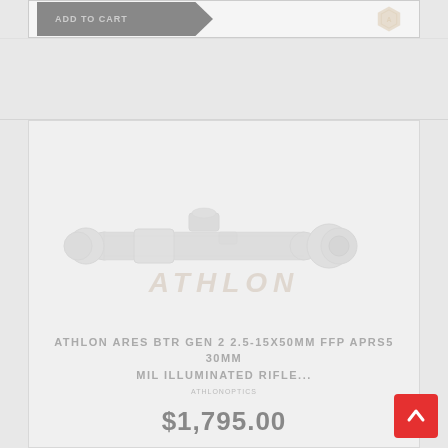[Figure (screenshot): E-commerce product listing page showing a rifle scope product. Top bar has an 'ADD TO CART' button with a shield/hexagon logo. Below is a product card with a faded image of an Athlon rifle scope, an 'ATHLON' watermark, product title 'ATHLON ARES BTR GEN 2 2.5-15X50MM FFP APRS5 30MM MIL ILLUMINATED RIFLE...' and price '$1,795.00'. A red scroll-to-top button with an up arrow appears in the bottom right.]
ATHLON ARES BTR GEN 2 2.5-15X50MM FFP APRS5 30MM MIL ILLUMINATED RIFLE...
$1,795.00